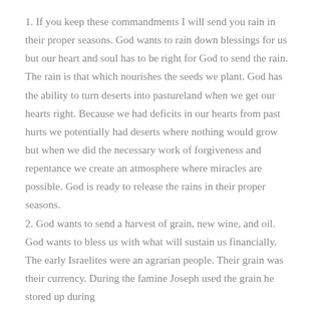1. If you keep these commandments I will send you rain in their proper seasons. God wants to rain down blessings for us but our heart and soul has to be right for God to send the rain. The rain is that which nourishes the seeds we plant. God has the ability to turn deserts into pastureland when we get our hearts right. Because we had deficits in our hearts from past hurts we potentially had deserts where nothing would grow but when we did the necessary work of forgiveness and repentance we create an atmosphere where miracles are possible. God is ready to release the rains in their proper seasons.
2. God wants to send a harvest of grain, new wine, and oil. God wants to bless us with what will sustain us financially. The early Israelites were an agrarian people. Their grain was their currency. During the famine Joseph used the grain he stored up during